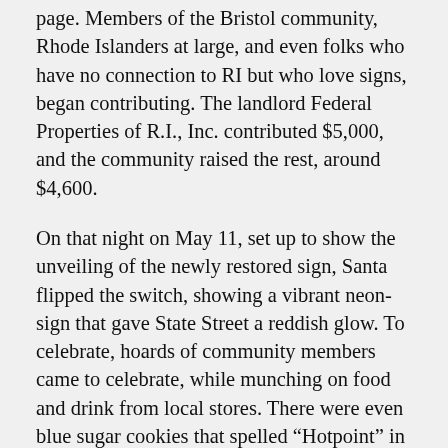page. Members of the Bristol community, Rhode Islanders at large, and even folks who have no connection to RI but who love signs, began contributing. The landlord Federal Properties of R.I., Inc. contributed $5,000, and the community raised the rest, around $4,600.
On that night on May 11, set up to show the unveiling of the newly restored sign, Santa flipped the switch, showing a vibrant neon-sign that gave State Street a reddish glow. To celebrate, hoards of community members came to celebrate, while munching on food and drink from local stores. There were even blue sugar cookies that spelled “Hotpoint” in white icing. Members of Hotpoint Emporium Ellen Blomgren, Chryssa Udvardy and Kol Naylor mentioned that many of them will now drive by State Street even if it is out of their way, just to catch a glimpse of the restored sign.
Although the restoration stayed mostly faithful to the original, the main difference is the base of the sign.